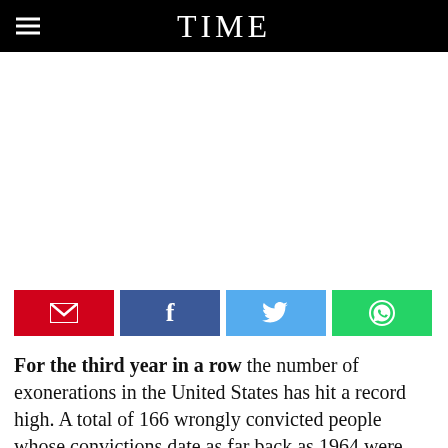TIME
[Figure (infographic): Grid of orange jumpsuit prisoner figures arranged in rows representing wrongly convicted people]
[Figure (infographic): Social sharing buttons: email (red), Facebook (blue), Twitter (light blue), WhatsApp (green)]
For the third year in a row the number of exonerations in the United States has hit a record high. A total of 166 wrongly convicted people whose convictions date as far back as 1964 were declared innocent in 2016, according